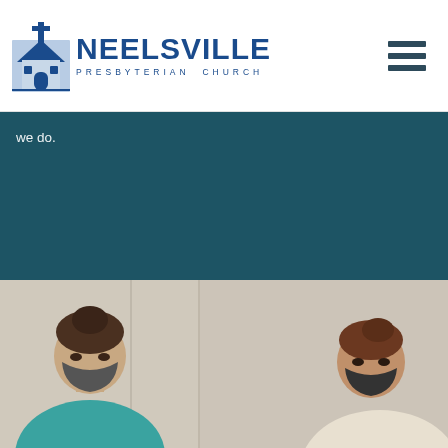[Figure (logo): Neelsville Presbyterian Church logo with church building icon and blue text]
we do.
[Figure (photo): Two people wearing face masks in an indoor setting, split across two panels]